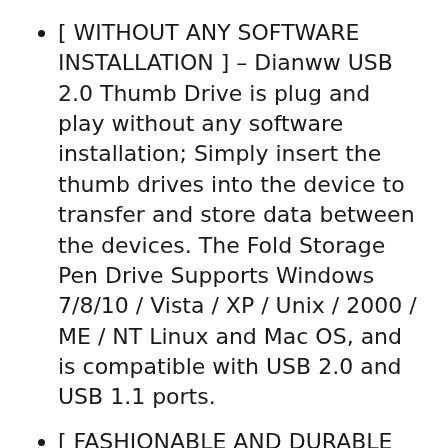[ WITHOUT ANY SOFTWARE INSTALLATION ] – Dianww USB 2.0 Thumb Drive is plug and play without any software installation; Simply insert the thumb drives into the device to transfer and store data between the devices. The Fold Storage Pen Drive Supports Windows 7/8/10 / Vista / XP / Unix / 2000 / ME / NT Linux and Mac OS, and is compatible with USB 2.0 and USB 1.1 ports.
[ FASHIONABLE AND DURABLE METAL MATERIAL ] – Dianww USB Flash Drive features durable and rugged ABS and Metal housing body with rotated design. The 360° rotated design is made from stainless steel, and the interior part is made of ABS plastic